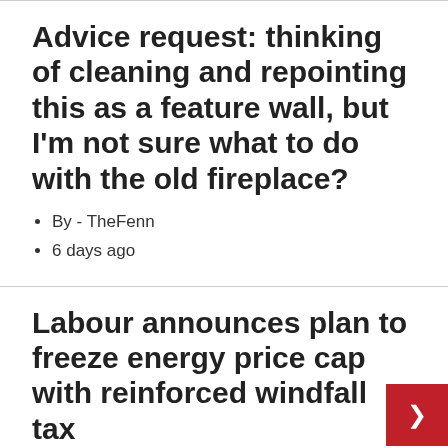Advice request: thinking of cleaning and repointing this as a feature wall, but I'm not sure what to do with the old fireplace?
By - TheFenn
6 days ago
Labour announces plan to freeze energy price cap with reinforced windfall tax